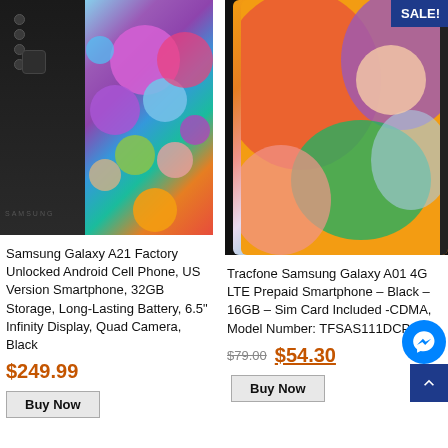[Figure (photo): Samsung Galaxy A21 smartphone shown from back and front at an angle, with colorful bubble wallpaper on screen]
Samsung Galaxy A21 Factory Unlocked Android Cell Phone, US Version Smartphone, 32GB Storage, Long-Lasting Battery, 6.5" Infinity Display, Quad Camera, Black
$249.99
Buy Now
[Figure (photo): Tracfone Samsung Galaxy A01 smartphone shown close up with colorful abstract wallpaper, SALE badge in top right corner]
Tracfone Samsung Galaxy A01 4G LTE Prepaid Smartphone – Black – 16GB – Sim Card Included -CDMA, Model Number: TFSAS111DCP
$79.00  $54.30
Buy Now